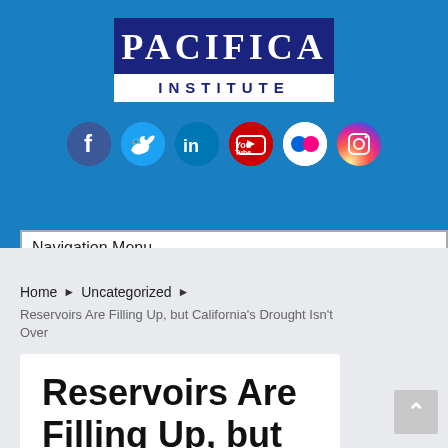[Figure (logo): Pacifica Institute logo with dark blue top bar and white bottom bar]
[Figure (infographic): Social media icons: Facebook, Twitter, LinkedIn, YouTube, Flickr, Instagram]
Navigation Menu
Home ▶ Uncategorized ▶
Reservoirs Are Filling Up, but California's Drought Isn't Over
Reservoirs Are Filling Up, but California's